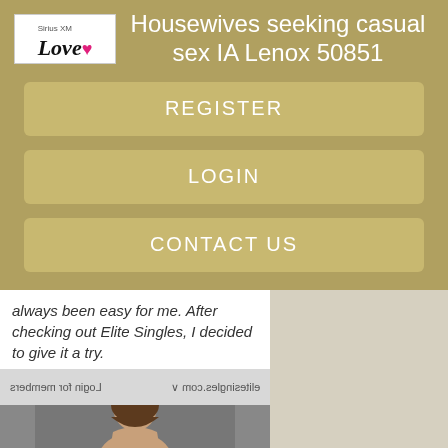[Figure (logo): SiriusXM Love logo with pink heart]
Housewives seeking casual sex IA Lenox 50851
REGISTER
LOGIN
CONTACT US
always been easy for me. After checking out Elite Singles, I decided to give it a try.
[Figure (screenshot): Screenshot of Elite Singles website with login bar and photo of woman with brown hair]